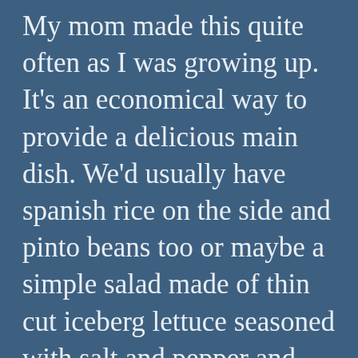My mom made this quite often as I was growing up. It's an economical way to provide a delicious main dish. We'd usually have spanish rice on the side and pinto beans too or maybe a simple salad made of thin cut iceberg lettuce seasoned with salt and pepper and tossed with a bit of mayonnaise. I am blessed to have many warm and fuzzy memories of my youth that center around a happy Momma, a warm kitchen and delicious food Today I love